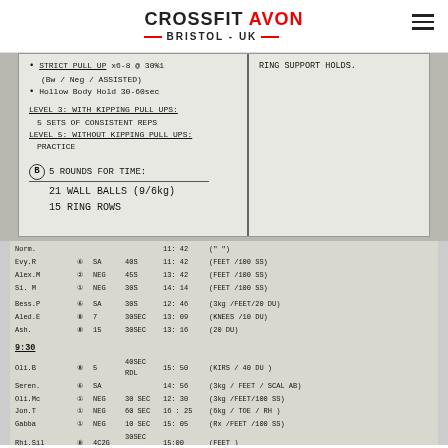CROSSFIT AVON — BRISTOL - UK
[Figure (photo): Whiteboard showing CrossFit workout: Strict Pull Up x6-8 @ 30%1 (Bw/Neg/Assisted), Hollow Body Hold 30-60sec, Level 3: With Kipping Pull Ups: 5 sets of consistent reps, Level 5: Without Kipping Pull Ups: Practice, (B) 5 Rounds For Time: 21 Wall Balls (9/6kg), 15 Ring Rows, Ring Support Holds.]
[Figure (photo): Handwritten scores sheet with athlete names, rounds, weights, and times. Athletes include Norm, Evy.R, Alex.M, Si.M, Bess.P, Aled.E, Ash. Group 9:30 includes Oli.B, Seren., Oli.Mc, Jon.T, Gabba, Rhi.Sil, James.C, Tom.KP, Denise.]